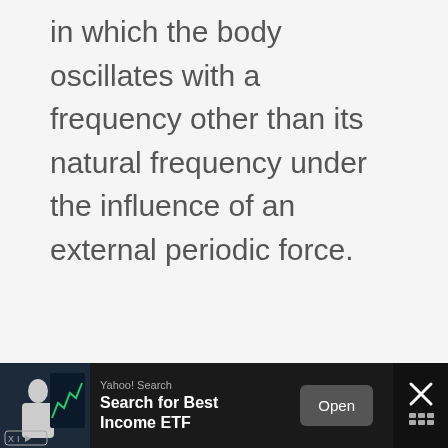in which the body oscillates with a frequency other than its natural frequency under the influence of an external periodic force.
[Figure (screenshot): Advertisement banner at the bottom: Yahoo! Search ad for 'Search for Best Income ETF' with an Open button and close (X) button. Dark background with image of a person at a trading screen on the left.]